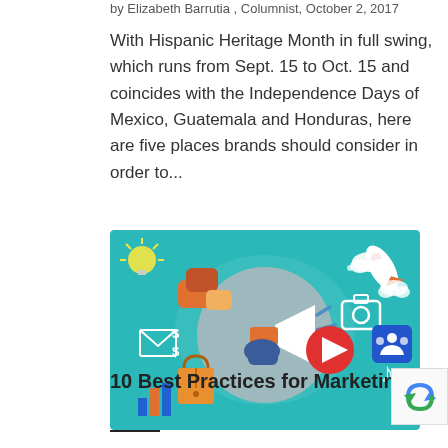by Elizabeth Barrutia , Columnist, October 2, 2017
With Hispanic Heritage Month in full swing, which runs from Sept. 15 to Oct. 15 and coincides with the Independence Days of Mexico, Guatemala and Honduras, here are five places brands should consider in order to…
[Figure (illustration): Marketing illustration on teal background showing a hand holding a megaphone/bullhorn in a grey circle, surrounded by social media and marketing icons: lightbulb, speech bubbles, envelope, bar chart, shopping bag, dollar signs, play button, camera, social network icon, rocket, clouds, music note, speech dots.]
10 Best Practices for Marketing to Hispanic